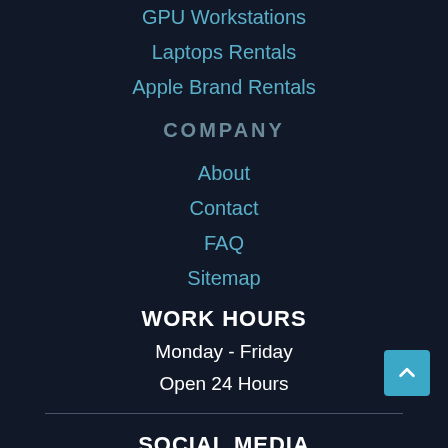GPU Workstations
Laptops Rentals
Apple Brand Rentals
COMPANY
About
Contact
FAQ
Sitemap
WORK HOURS
Monday - Friday
Open 24 Hours
SOCIAL MEDIA
Linkedin